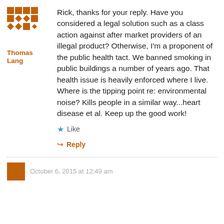[Figure (illustration): Avatar icon made of an orange/brown mosaic grid pattern of squares and diamonds]
Thomas Lang
Rick, thanks for your reply. Have you considered a legal solution such as a class action against after market providers of an illegal product? Otherwise, I'm a proponent of the public health tact. We banned smoking in public buildings a number of years ago. That health issue is heavily enforced where I live. Where is the tipping point re: environmental noise? Kills people in a similar way...heart disease et al. Keep up the good work!
Like
Reply
October 6, 2015 at 12:49 am